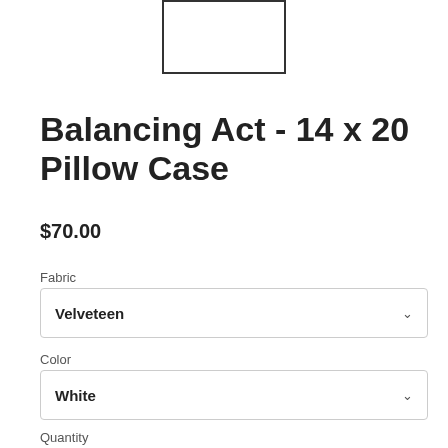[Figure (other): White rectangular product image placeholder box]
Balancing Act - 14 x 20 Pillow Case
$70.00
Fabric
Velveteen
Color
White
Quantity